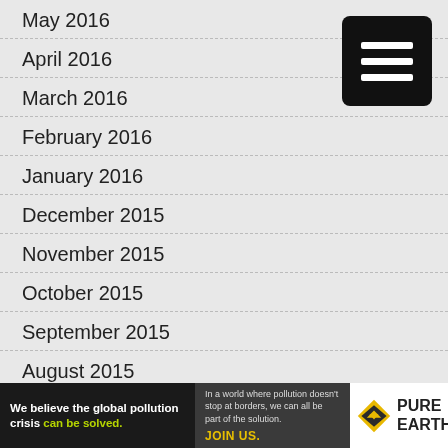May 2016
April 2016
March 2016
February 2016
January 2016
December 2015
November 2015
October 2015
September 2015
August 2015
July 2015
June 2015
May 2015
[Figure (logo): Pure Earth advertisement banner: 'We believe the global pollution crisis can be solved. In a world where pollution doesn't stop at borders, we can all be part of the solution. JOIN US.' with Pure Earth logo.]